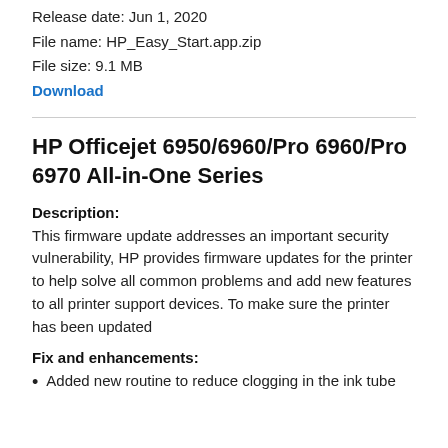Release date: Jun 1, 2020
File name: HP_Easy_Start.app.zip
File size: 9.1 MB
Download
HP Officejet 6950/6960/Pro 6960/Pro 6970 All-in-One Series
Description:
This firmware update addresses an important security vulnerability, HP provides firmware updates for the printer to help solve all common problems and add new features to all printer support devices. To make sure the printer has been updated
Fix and enhancements:
Added new routine to reduce clogging in the ink tube